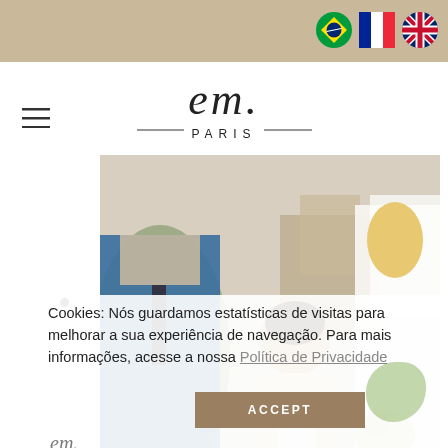[Figure (illustration): Top tan/beige banner header bar]
[Figure (illustration): Three circular flag icons: Brazil, France, United Kingdom language selectors]
[Figure (logo): em. PARIS cursive logo with decorative script and PARIS text flanked by horizontal lines]
[Figure (photo): Wedding ceremony photo showing groom in blue suit, officiant holding papers, and bride in white dress with veil holding bouquet]
Cookies: Nós guardamos estatísticas de visitas para melhorar a sua experiência de navegação. Para mais informações, acesse a nossa Política de Privacidade
ACCEPT